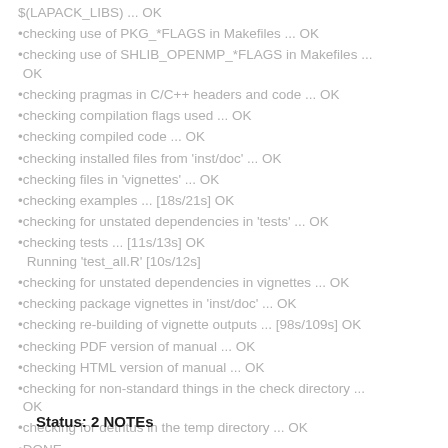$(LAPACK_LIBS) ... OK
checking use of PKG_*FLAGS in Makefiles ... OK
checking use of SHLIB_OPENMP_*FLAGS in Makefiles ... OK
checking pragmas in C/C++ headers and code ... OK
checking compilation flags used ... OK
checking compiled code ... OK
checking installed files from 'inst/doc' ... OK
checking files in 'vignettes' ... OK
checking examples ... [18s/21s] OK
checking for unstated dependencies in 'tests' ... OK
checking tests ... [11s/13s] OK
Running 'test_all.R' [10s/12s]
checking for unstated dependencies in vignettes ... OK
checking package vignettes in 'inst/doc' ... OK
checking re-building of vignette outputs ... [98s/109s] OK
checking PDF version of manual ... OK
checking HTML version of manual ... OK
checking for non-standard things in the check directory ... OK
checking for detritus in the temp directory ... OK
DONE
Status: 2 NOTEs